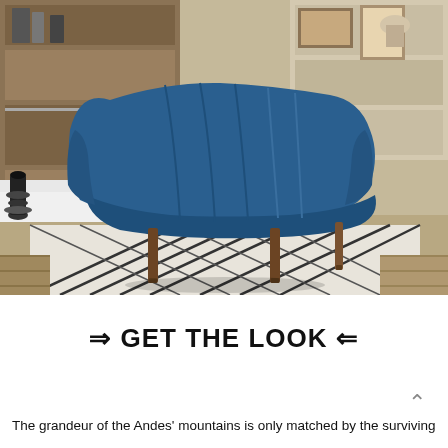[Figure (photo): A blue velvet accent chair with tapered walnut-finish legs, placed on a geometric black-and-white area rug in a modern living room setting with shelving in the background.]
⇒ GET THE LOOK ⇐
The grandeur of the Andes' mountains is only matched by the surviving